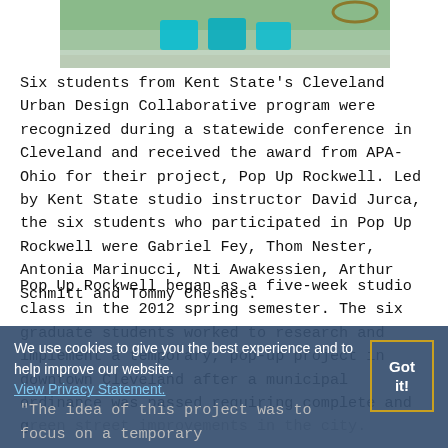[Figure (photo): Partial photo showing outdoor scene with teal/turquoise chairs on grass/pavement, cropped at top]
Six students from Kent State's Cleveland Urban Design Collaborative program were recognized during a statewide conference in Cleveland and received the award from APA-Ohio for their project, Pop Up Rockwell. Led by Kent State studio instructor David Jurca, the six students who participated in Pop Up Rockwell were Gabriel Fey, Thom Nester, Antonia Marinucci, Nti Awakessien, Arthur Schmitt and Tommy Chesnes.
Pop Up Rockwell began as a five-week studio class in the 2012 spring semester. The six graduate students worked to research and implement a temporary, pop-up project in downtown Cleveland after a municipal ordinance was passed requiring complete and green street improvements in the city.
We use cookies to give you the best experience and to help improve our website. View Privacy Statement.
"The idea of this project was to focus on a temporary